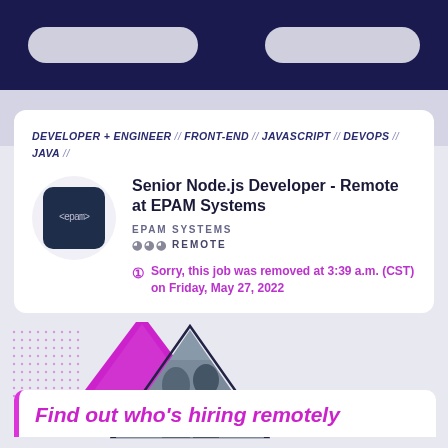DEVELOPER + ENGINEER // FRONT-END // JAVASCRIPT // DEVOPS // JAVA //
Senior Node.js Developer - Remote at EPAM Systems
EPAM SYSTEMS
REMOTE
Sorry, this job was removed at 3:39 a.m. (CST) on Friday, May 27, 2022
[Figure (illustration): Decorative triangles (magenta filled and outlined) with a photo of people in a triangle cutout]
Find out who's hiring remotely